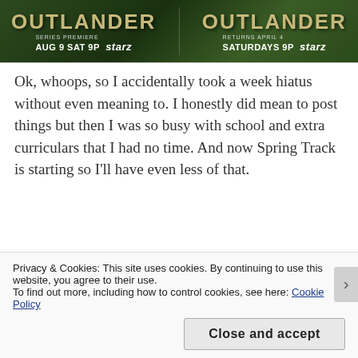[Figure (other): Outlander TV show banner ad showing two panels with the show title in large stylized text. Left panel: SERIES PREMIERE AUG 9 SAT 9P starz. Right panel: RETURNS APRIL 4 SATURDAYS 9P starz. Forest green background.]
Ok, whoops, so I accidentally took a week hiatus without even meaning to. I honestly did mean to post things but then I was so busy with school and extra curriculars that I had no time. And now Spring Track is starting so I'll have even less of that.
But anyways, I was going to call this a review, but then I realize that it was word vomit and
Privacy & Cookies: This site uses cookies. By continuing to use this website, you agree to their use.
To find out more, including how to control cookies, see here: Cookie Policy
Close and accept